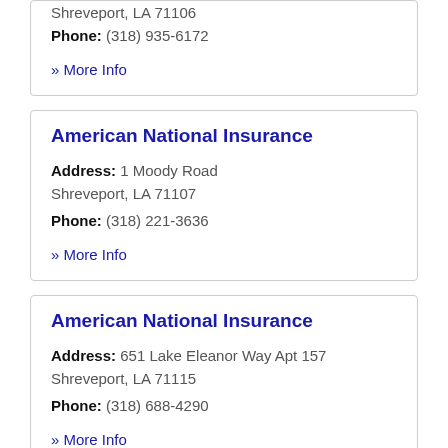Shreveport, LA 71106
Phone: (318) 935-6172
» More Info
American National Insurance
Address: 1 Moody Road Shreveport, LA 71107
Phone: (318) 221-3636
» More Info
American National Insurance
Address: 651 Lake Eleanor Way Apt 157 Shreveport, LA 71115
Phone: (318) 688-4290
» More Info